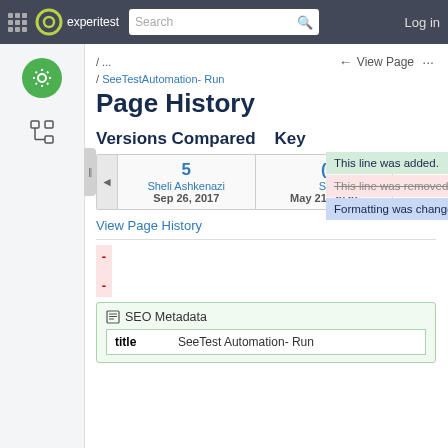experitest | Search | Log in
/ ... / SeeTestAutomation- Run
Page History
Versions Compared   Key
|  | Version 5 | Version (other) |
| --- | --- | --- |
|  | 5
Sheli Ashkenazi
Sep 26, 2017 | (older)
Si...
May 21, 2020 |
This line was added.
This line was removed.
Formatting was changed.
View Page History
- 
-
| title |
| --- |
| SeeTest Automation- Run |